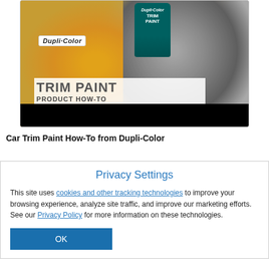[Figure (screenshot): Video thumbnail showing Dupli-Color Trim Paint product how-to, with spray paint cans and orange/gray spray paint effects, black bar at bottom]
Car Trim Paint How-To from Dupli-Color
Privacy Settings
This site uses cookies and other tracking technologies to improve your browsing experience, analyze site traffic, and improve our marketing efforts. See our Privacy Policy for more information on these technologies.
OK